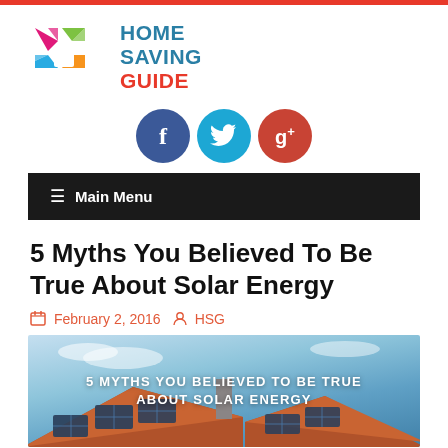[Figure (logo): Home Saving Guide logo with four colored arrow shapes (pink, green, teal, orange) and text HOME SAVING GUIDE]
[Figure (infographic): Three circular social media buttons: Facebook (dark blue, f), Twitter (light blue, bird), Google+ (red, g+)]
≡  Main Menu
5 Myths You Believed To Be True About Solar Energy
February 2, 2016   HSG
[Figure (photo): Photo of rooftop solar panels against a blue sky with overlaid text: 5 MYTHS YOU BELIEVED TO BE TRUE ABOUT SOLAR ENERGY]